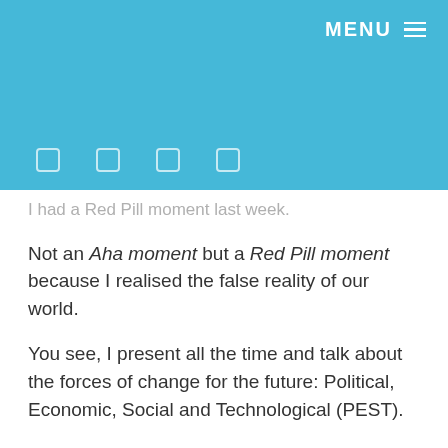MENU
I had a Red Pill moment last week.
Not an Aha moment but a Red Pill moment because I realised the false reality of our world.
You see, I present all the time and talk about the forces of change for the future: Political, Economic, Social and Technological (PEST).
I usually skip over the Political and Economic because it's booooring, and focus upon the Social and Technological because it's way sexier.